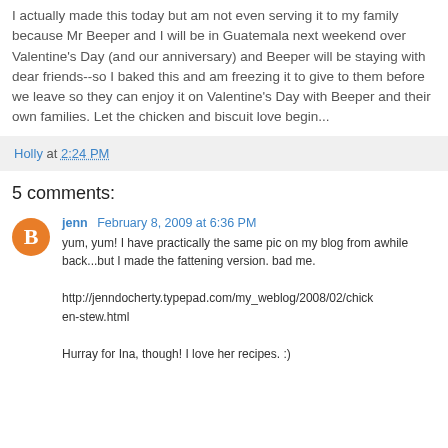I actually made this today but am not even serving it to my family because Mr Beeper and I will be in Guatemala next weekend over Valentine's Day (and our anniversary) and Beeper will be staying with dear friends--so I baked this and am freezing it to give to them before we leave so they can enjoy it on Valentine's Day with Beeper and their own families. Let the chicken and biscuit love begin...
Holly at 2:24 PM
5 comments:
jenn February 8, 2009 at 6:36 PM
yum, yum! I have practically the same pic on my blog from awhile back...but I made the fattening version. bad me.

http://jenndocherty.typepad.com/my_weblog/2008/02/chicken-stew.html

Hurray for Ina, though! I love her recipes. :)